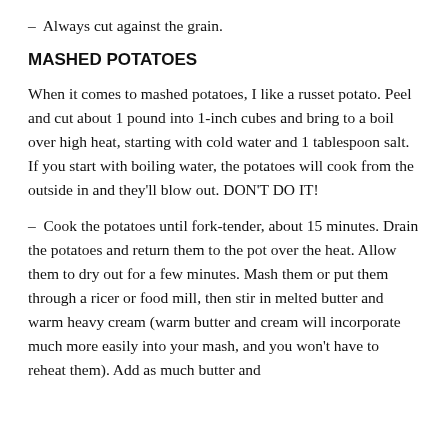– Always cut against the grain.
MASHED POTATOES
When it comes to mashed potatoes, I like a russet potato. Peel and cut about 1 pound into 1-inch cubes and bring to a boil over high heat, starting with cold water and 1 tablespoon salt. If you start with boiling water, the potatoes will cook from the outside in and they'll blow out. DON'T DO IT!
– Cook the potatoes until fork-tender, about 15 minutes. Drain the potatoes and return them to the pot over the heat. Allow them to dry out for a few minutes. Mash them or put them through a ricer or food mill, then stir in melted butter and warm heavy cream (warm butter and cream will incorporate much more easily into your mash, and you won't have to reheat them). Add as much butter and